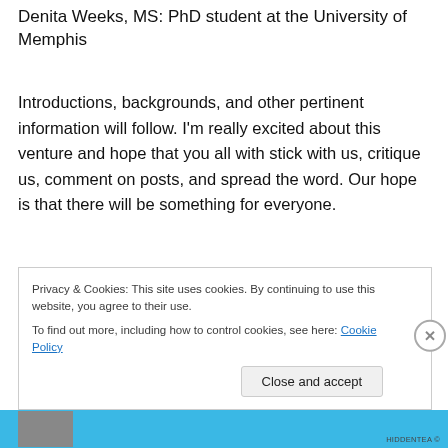Denita Weeks, MS: PhD student at the University of Memphis
Introductions, backgrounds, and other pertinent information will follow. I'm really excited about this venture and hope that you all with stick with us, critique us, comment on posts, and spread the word. Our hope is that there will be something for everyone.
Privacy & Cookies: This site uses cookies. By continuing to use this website, you agree to their use.
To find out more, including how to control cookies, see here: Cookie Policy
Close and accept